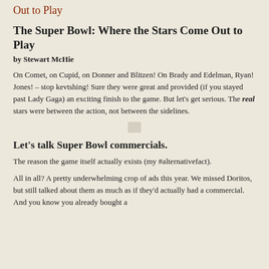Out to Play
The Super Bowl: Where the Stars Come Out to Play
by Stewart McHie
On Comet, on Cupid, on Donner and Blitzen! On Brady and Edelman, Ryan! Jones! – stop kevtshing! Sure they were great and provided (if you stayed past Lady Gaga) an exciting finish to the game. But let's get serious. The real stars were between the action, not between the sidelines.
[Figure (other): Small decorative image placeholder]
Let's talk Super Bowl commercials.
The reason the game itself actually exists (my #alternativefact).
All in all? A pretty underwhelming crop of ads this year. We missed Doritos, but still talked about them as much as if they'd actually had a commercial. And you know you already bought a